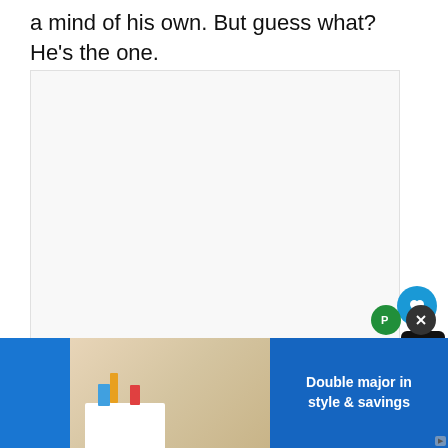a mind of his own. But guess what? He's the one.
[Figure (photo): Large rectangular image placeholder with light gray background, showing a partially visible photo with heart and share overlay buttons on the right side.]
[Figure (photo): Advertisement banner at the bottom showing a stylized dorm/study room scene on the left and a blue panel on the right with text 'Double major in style & savings']